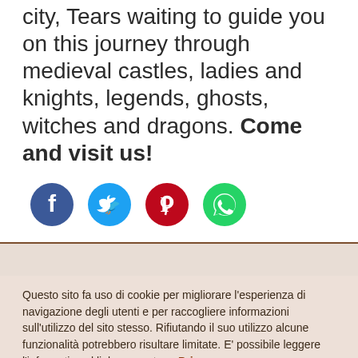city, Tears waiting to guide you on this journey through medieval castles, ladies and knights, legends, ghosts, witches and dragons. Come and visit us!
[Figure (infographic): Four social media sharing icons in circles: Facebook (dark blue), Twitter (light blue), Pinterest (dark red), WhatsApp (green)]
Questo sito fa uso di cookie per migliorare l'esperienza di navigazione degli utenti e per raccogliere informazioni sull'utilizzo del sito stesso. Rifiutando il suo utilizzo alcune funzionalità potrebbero risultare limitate. E' possibile leggere l'informativa al link seguente.    Privacy